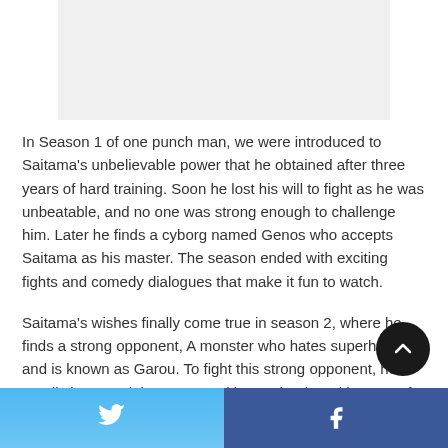[Figure (photo): Gray placeholder image at the top of the page]
In Season 1 of one punch man, we were introduced to Saitama's unbelievable power that he obtained after three years of hard training. Soon he lost his will to fight as he was unbeatable, and no one was strong enough to challenge him. Later he finds a cyborg named Genos who accepts Saitama as his master. The season ended with exciting fights and comedy dialogues that make it fun to watch.
Saitama's wishes finally come true in season 2, where he finds a strong opponent, A monster who hates superheroes and is known as Garou. To fight this strong opponent, he enrolls in a martial arts competition and trains with Genos for the competition.
In this season, we witness some exciting fights between